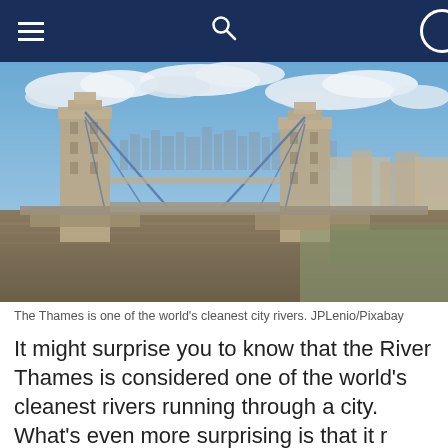Navigation bar with hamburger menu, search icon, and circle icon
[Figure (photo): Aerial view of Tower Bridge over the River Thames in London, with the city skyline in the background, blue sky with white clouds above.]
The Thames is one of the world’s cleanest city rivers. JPLenio/Pixabay
It might surprise you to know that the River Thames is considered one of the world’s cleanest rivers running through a city. What’s even more surprising is that it reached that status just 60 years after being declared “biologically dead” by scientists at London’s Natural